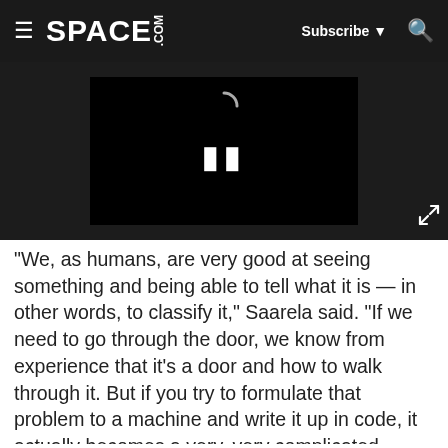SPACE.com — Subscribe — Search
[Figure (screenshot): Video player with pause button and loading spinner on dark background]
"We, as humans, are very good at seeing something and being able to tell what it is — in other words, to classify it," Saarela said. "If we need to go through the door, we know from experience that it's a door and how to walk through it. But if you try to formulate that problem to a machine and write it up in code, it actually becomes a very, very complicated problem: You have to explain in code what a door means, so you probably break it down into something like edges and openings and things like that, and it becomes a lot more complicated than you would imagine."